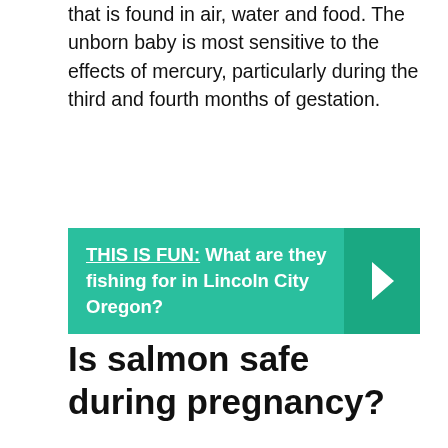that is found in air, water and food. The unborn baby is most sensitive to the effects of mercury, particularly during the third and fourth months of gestation.
[Figure (infographic): Teal banner with bold text: THIS IS FUN: What are they fishing for in Lincoln City Oregon? with a right-arrow chevron on the darker right panel.]
Is salmon safe during pregnancy?
Fish is a highly nutritious food, providing omega-3 fats, iodine and selenium. White fish can be eaten any time, but during pregnancy, it's best to limit oily fish, like sardines, mackerel and salmon, to no more than twice a week.